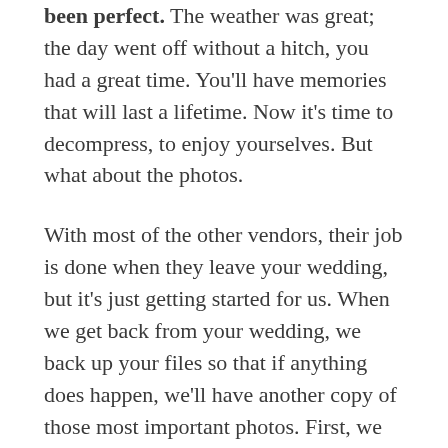been perfect. The weather was great; the day went off without a hitch, you had a great time. You'll have memories that will last a lifetime. Now it's time to decompress, to enjoy yourselves. But what about the photos.
With most of the other vendors, their job is done when they leave your wedding, but it's just getting started for us. When we get back from your wedding, we back up your files so that if anything does happen, we'll have another copy of those most important photos. First, we do a back up of your files on our home computer, then put another copy on our work computer at the studio. That way, we have two copies in two